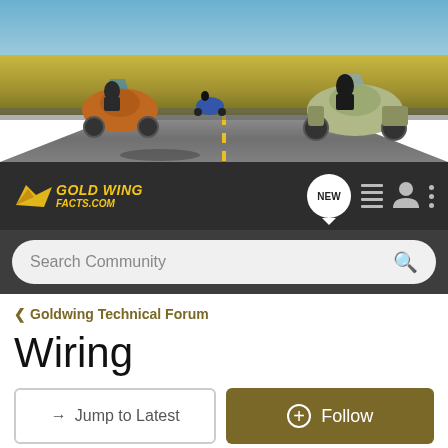[Figure (photo): Banner photo of motorcycles riding on a highway through open countryside with blue sky]
GoldWingFacts.com navigation bar with logo, NEW button, list icon, profile icon, and menu dots
Search Community
< Goldwing Technical Forum
Wiring
→ Jump to Latest
+ Follow
Not open for further replies.
1 - 15 of 15 Posts